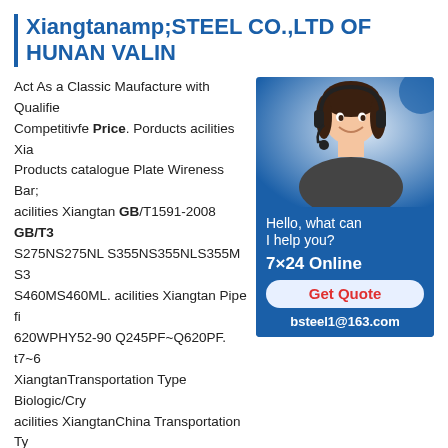Xiangtanamp;STEEL CO.,LTD OF HUNAN VALIN
Act As a Classic Maufacture with Qualified Competitivfe Price. Porducts acilities Xia Products catalogue Plate Wireness Bar; acilities Xiangtan GB/T1591-2008 GB/T3 S275NS275NL S355NS355NLS355M S3 S460MS460ML. acilities Xiangtan Pipe fi 620WPHY52-90 Q245PF~Q620PF. t7~6 XiangtanTransportation Type Biologic/Cry acilities XiangtanChina Transportation Ty
[Figure (photo): Customer service representative wearing headset, with chat widget showing Hello what can I help you? 7x24 Online, Get Quote button, and bsteel1@163.com email]
Liquid Nitrogen Container/Tank, Aluminum Alloy, Find details about China Liquid Nitrogen Container, Transportation Liquid Nitrogen Tank from Transportation Type Biologic/Cryogenic Liquid Nitrogen Container/Tank, Aluminum Alloy - Xiangtan Xiangyi Instrument LimitedStainless Steel Plate Sheet -